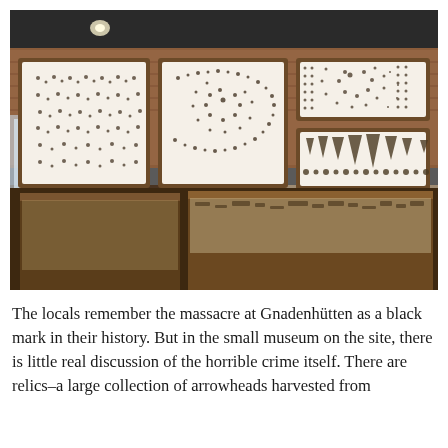[Figure (photo): Interior of a museum room with brick walls and dark ceiling. Multiple large framed display boards mounted on the wall showing hundreds of arrowheads and stone relics arranged in patterns. Below the boards are wooden display cases containing more artifacts on white backgrounds. A small easel with a sign or book sits on one of the wooden cases.]
The locals remember the massacre at Gnadenhütten as a black mark in their history. But in the small museum on the site, there is little real discussion of the horrible crime itself. There are relics–a large collection of arrowheads harvested from